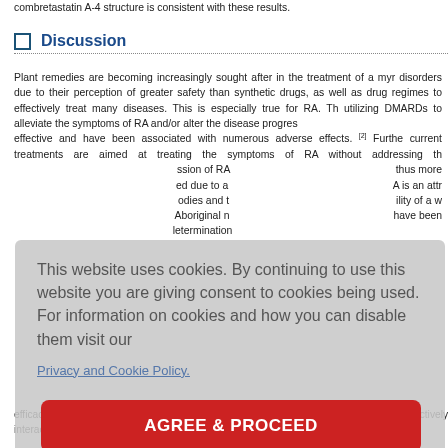combretastatin A-4 structure is consistent with these results.
Discussion
Plant remedies are becoming increasingly sought after in the treatment of a myr disorders due to their perception of greater safety than synthetic drugs, as well as drug regimes to effectively treat many diseases. This is especially true for RA. Th utilizing DMARDs to alleviate the symptoms of RA and/or alter the disease progres effective and have been associated with numerous adverse effects. [2] Furthe current treatments are aimed at treating the symptoms of RA without addressing th ssion of RA thus more ed due to a A is an attr odies and t ility of a w Aboriginal n have been letermination
[Figure (screenshot): Cookie consent overlay with text: 'This website uses cookies. By continuing to use this website you are giving consent to cookies being used. For information on cookies and how you can disable them visit our Privacy and Cookie Policy.' and an 'AGREE & PROCEED' button.]
efficacy of these extracts as inhibitors of the microbial trigger of RA. The T. lanceo actively interact with MICs and one of 4 μg/ml/8-11 was in the risk) for the